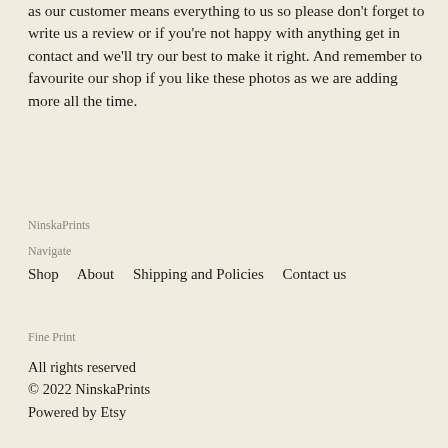as our customer means everything to us so please don't forget to write us a review or if you're not happy with anything get in contact and we'll try our best to make it right. And remember to favourite our shop if you like these photos as we are adding more all the time.
NinskaPrints
Navigate
Shop    About    Shipping and Policies    Contact us
Fine Print
All rights reserved
© 2022 NinskaPrints
Powered by Etsy